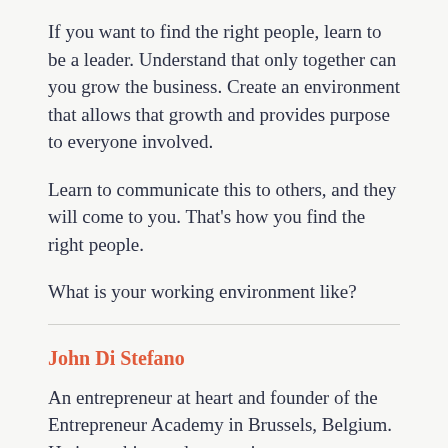If you want to find the right people, learn to be a leader. Understand that only together can you grow the business. Create an environment that allows that growth and provides purpose to everyone involved.
Learn to communicate this to others, and they will come to you. That’s how you find the right people.
What is your working environment like?
John Di Stefano
An entrepreneur at heart and founder of the Entrepreneur Academy in Brussels, Belgium. He is teaching and supporting entrepreneurs in the skills every entrepreneur needs to create a better life for